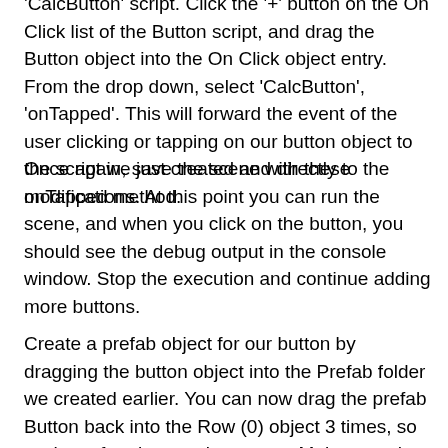'CalcButton' script. Click the '+' button on the On Click list of the Button script, and drag the Button object into the On Click object entry. From the drop down, select 'CalcButton', 'onTapped'. This will forward the event of the user clicking or tapping on our button object to the script we just created and directly to the onTapped method.
Once again, save the scene with these modifications. At this point you can run the scene, and when you click on the button, you should see the debug output in the console window. Stop the execution and continue adding more buttons.
Create a prefab object for our button by dragging the button object into the Prefab folder we created earlier. You can now drag the prefab Button back into the Row (0) object 3 times, so we have four buttons in our row. Make sure the buttons are in the order you created them, so using the Unity default naming, you should see 'Button', followed by 'Button (1)',